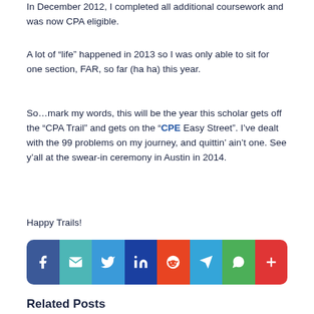In December 2012, I completed all additional coursework and was now CPA eligible.
A lot of “life” happened in 2013 so I was only able to sit for one section, FAR, so far (ha ha) this year.
So…mark my words, this will be the year this scholar gets off the “CPA Trail” and gets on the “CPE Easy Street”. I’ve dealt with the 99 problems on my journey, and quittin’ ain’t one. See y’all at the swear-in ceremony in Austin in 2014.
Happy Trails!
[Figure (infographic): Social share button bar with icons for Facebook, Email, Twitter, LinkedIn, Reddit, Telegram, WhatsApp, and More.]
Related Posts